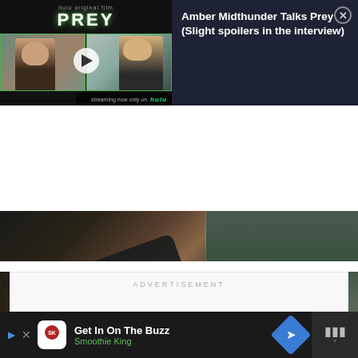[Figure (screenshot): Video overlay panel showing Hulu Prey movie with thumbnail of two women in split-screen video call, play button in center, and text title on dark navy background with close button]
Amber Midthunder Talks Prey (Slight spoilers in the interview)
[Figure (screenshot): Main video still from movie showing close-up of arm/wrist with bracelet/handcuff and dark clothing against green-tinted background]
ADVERTISEMENT
Get In On The Buzz
Smoothie King